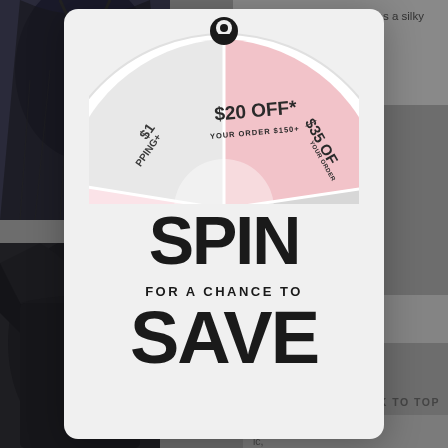[Figure (screenshot): E-commerce website screenshot showing clothing items with a spin-to-save promotional popup overlay. The popup contains a prize wheel showing '$20 OFF* YOUR ORDER $150+', '$1 SHIPPING+', '$35 OF[F]' segments, a location pin icon at top, and large bold text reading 'SPIN FOR A CHANCE TO SAVE'.]
season wardrobe. As well as a silky cami is undeniably Include: - adjustable fabrication
SPIN
FOR A CHANCE TO
SAVE
Pants ami
BACK TO TOP
black ic, hort black u'll be